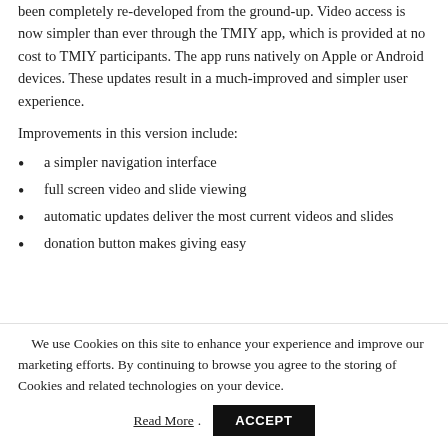been completely re-developed from the ground-up. Video access is now simpler than ever through the TMIY app, which is provided at no cost to TMIY participants. The app runs natively on Apple or Android devices. These updates result in a much-improved and simpler user experience.
Improvements in this version include:
a simpler navigation interface
full screen video and slide viewing
automatic updates deliver the most current videos and slides
donation button makes giving easy
We use Cookies on this site to enhance your experience and improve our marketing efforts. By continuing to browse you agree to the storing of Cookies and related technologies on your device.
Read More. ACCEPT